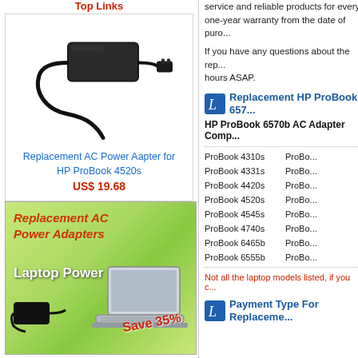Top Links (truncated)
[Figure (photo): AC power adapter/charger for HP ProBook 4520s, black brick with cable]
Replacement AC Power Aapter for HP ProBook 4520s
US$ 19.68
[Figure (photo): Banner ad: Replacement AC Power Adapters, Laptop Power!, Save 35%, green background with laptop and adapter]
service and reliable products for every one-year warranty from the date of puro...
If you have any questions about the rep... hours ASAP.
Replacement HP ProBook 657...
HP ProBook 6570b AC Adapter Comp...
ProBook 4310s
ProBook 4331s
ProBook 4420s
ProBook 4520s
ProBook 4545s
ProBook 4740s
ProBook 6465b
ProBook 6555b
Not all the laptop models listed, if you c...
Payment Type For Replaceme...